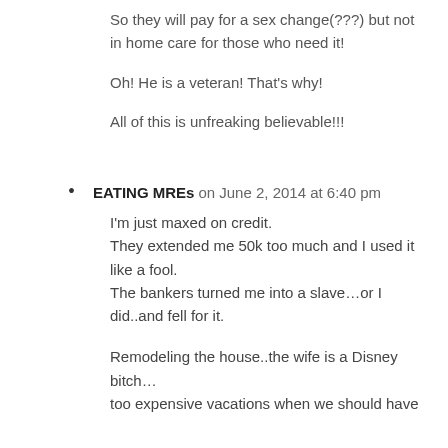So they will pay for a sex change(???) but not in home care for those who need it!

Oh! He is a veteran! That’s why!

All of this is unfreaking believable!!!
EATING MREs on June 2, 2014 at 6:40 pm
I’m just maxed on credit.
They extended me 50k too much and I used it like a fool.
The bankers turned me into a slave…or I did..and fell for it.

Remodeling the house..the wife is a Disney bitch…
too expensive vacations when we should have